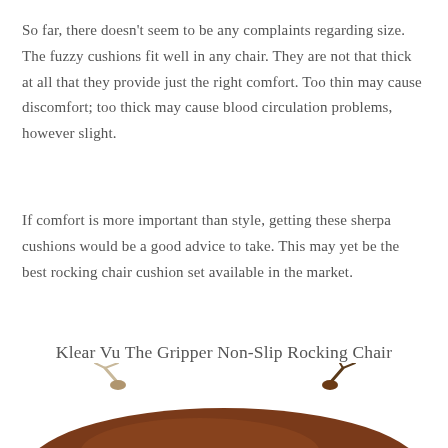So far, there doesn't seem to be any complaints regarding size. The fuzzy cushions fit well in any chair. They are not that thick at all that they provide just the right comfort. Too thin may cause discomfort; too thick may cause blood circulation problems, however slight.
If comfort is more important than style, getting these sherpa cushions would be a good advice to take. This may yet be the best rocking chair cushion set available in the market.
Klear Vu The Gripper Non-Slip Rocking Chair Cushion Set
[Figure (photo): Bottom portion of a rocking chair cushion set, brown leather cushion with ties visible at the top edge of the image, cropped at the bottom of the page.]